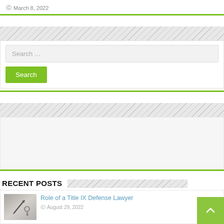March 8, 2022
Search ...
Search
[Figure (other): Advertisement / empty panel area]
RECENT POSTS
[Figure (photo): Thumbnail image showing pen and keys on desk]
Role of a Title IX Defense Lawyer
August 29, 2022